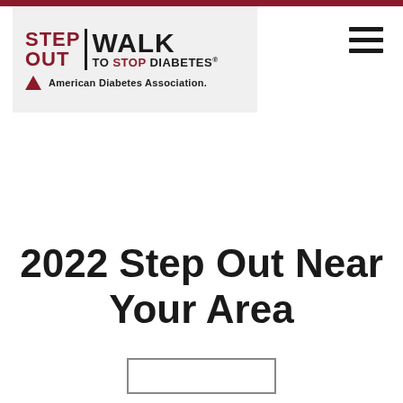[Figure (logo): Step Out Walk to Stop Diabetes logo with American Diabetes Association branding. Red and black text on light gray background.]
2022 Step Out Near Your Area